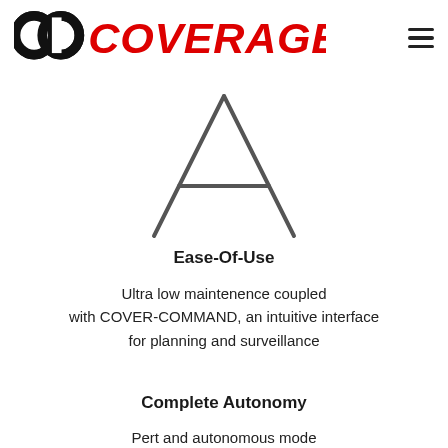COVERAGE
[Figure (logo): Letter A outline icon — triangle shape with crossbar, drawn in thin dark gray lines]
Ease-Of-Use
Ultra low maintenence coupled with COVER-COMMAND, an intuitive interface for planning and surveillance
Complete Autonomy
Pert and autonomous mode